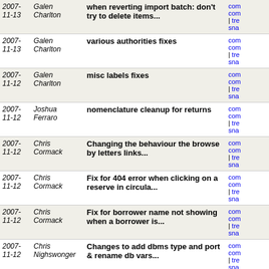| Date | Author | Message | Links |
| --- | --- | --- | --- |
| 2007-
11-13 | Galen
Charlton | when reverting import batch: don't try to delete items... | com
com
| tre
sna |
| 2007-
11-13 | Galen
Charlton | various authorities fixes | com
com
| tre
sna |
| 2007-
11-12 | Galen
Charlton | misc labels fixes | com
com
| tre
sna |
| 2007-
11-12 | Joshua
Ferraro | nomenclature cleanup for returns | com
com
| tre
sna |
| 2007-
11-12 | Chris
Cormack | Changing the behaviour the browse by letters links... | com
com
| tre
sna |
| 2007-
11-12 | Chris
Cormack | Fix for 404 error when clicking on a reserve in circula... | com
com
| tre
sna |
| 2007-
11-12 | Chris
Cormack | Fix for borrower name not showing when a borrower is... | com
com
| tre
sna |
| 2007-
11-12 | Chris
Nighswonger | Changes to add dbms type and port & rename db vars... | com
com
| tre
sna |
| 2007-
11-12 | Chris
Cormack | Commenting out link to addnotes.pl which doesnt exist | com
com
| tre
sna |
| 2007-
11-12 | Chris
Cormack | Setting it up so circ and members use a different toolb... | com
com
| tre
sna |
| 2007- | Chris | Fix so that if you edit a borrower from circ... | com |